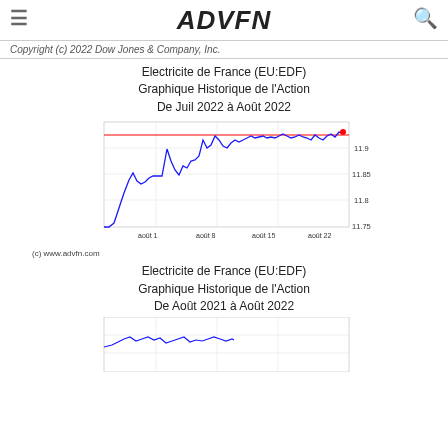ADVFN
Copyright (c) 2022 Dow Jones & Company, Inc.
Electricite de France (EU:EDF)
Graphique Historique de l'Action
De Juil 2022 à Août 2022
[Figure (line-chart): Line chart showing EDF stock price from July to August 2022, ranging roughly 11.75 to 11.95, with a red horizontal reference line near 11.93]
(c) www.advfn.com
Electricite de France (EU:EDF)
Graphique Historique de l'Action
De Août 2021 à Août 2022